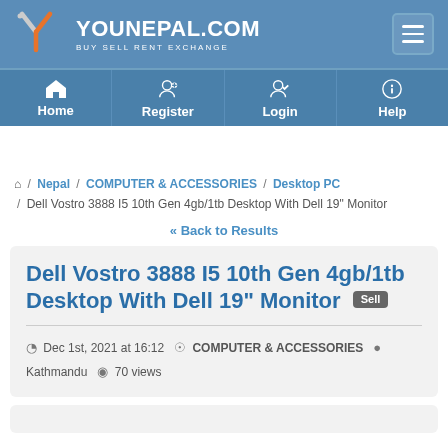[Figure (logo): YouNepal.com logo with Y icon and tagline BUY SELL RENT EXCHANGE on blue header background]
Home | Register | Login | Help (navigation bar)
Nepal / COMPUTER & ACCESSORIES / Desktop PC / Dell Vostro 3888 I5 10th Gen 4gb/1tb Desktop With Dell 19" Monitor
« Back to Results
Dell Vostro 3888 I5 10th Gen 4gb/1tb Desktop With Dell 19" Monitor Sell
Dec 1st, 2021 at 16:12  COMPUTER & ACCESSORIES  Kathmandu  70 views